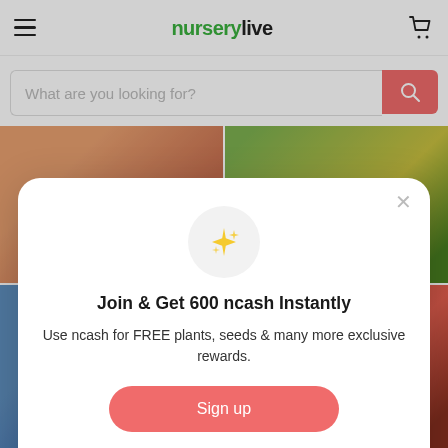nurserylive
What are you looking for?
[Figure (screenshot): Background images showing plants and flowers in a 2x2 grid layout]
Join & Get 600 ncash Instantly
Use ncash for FREE plants, seeds & many more exclusive rewards.
Sign up
Already have an account? Sign in